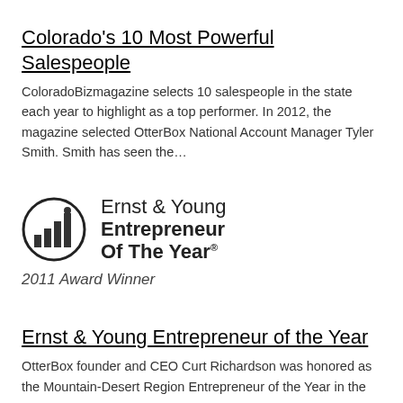Colorado's 10 Most Powerful Salespeople
ColoradoBizmagazine selects 10 salespeople in the state each year to highlight as a top performer. In 2012, the magazine selected OtterBox National Account Manager Tyler Smith. Smith has seen the…
[Figure (logo): Ernst & Young Entrepreneur Of The Year logo with bar chart icon. Text: Ernst & Young Entrepreneur Of The Year® 2011 Award Winner]
Ernst & Young Entrepreneur of the Year
OtterBox founder and CEO Curt Richardson was honored as the Mountain-Desert Region Entrepreneur of the Year in the